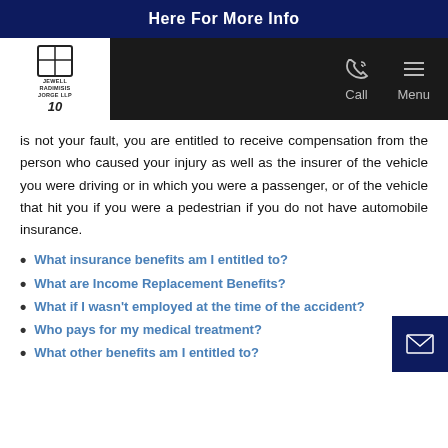Here For More Info
is not your fault, you are entitled to receive compensation from the person who caused your injury as well as the insurer of the vehicle you were driving or in which you were a passenger, or of the vehicle that hit you if you were a pedestrian if you do not have automobile insurance.
What insurance benefits am I entitled to?
What are Income Replacement Benefits?
What if I wasn't employed at the time of the accident?
Who pays for my medical treatment?
What other benefits am I entitled to?